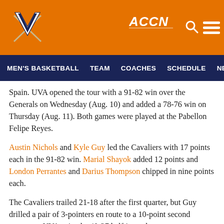[Figure (logo): University of Virginia (UVA) official athletics website header with orange background, UVA Cavaliers logo on left, ACCN ESPN logo, search icon and menu icon on right]
MEN'S BASKETBALL   TEAM   COACHES   SCHEDULE   NEWS   ST
Spain. UVA opened the tour with a 91-82 win over the Generals on Wednesday (Aug. 10) and added a 78-76 win on Thursday (Aug. 11). Both games were played at the Pabellon Felipe Reyes.
Austin Nichols and Kyle Guy led the Cavaliers with 17 points each in the 91-82 win. Marial Shayok added 12 points and London Perrantes and Darius Thompson chipped in nine points each.
The Cavaliers trailed 21-18 after the first quarter, but Guy drilled a pair of 3-pointers en route to a 10-point second quarter as UVA gained a 40-37 halftime advantage.